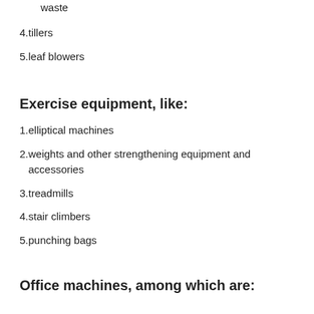waste
4. tillers
5. leaf blowers
Exercise equipment, like:
1. elliptical machines
2. weights and other strengthening equipment and accessories
3. treadmills
4. stair climbers
5. punching bags
Office machines, among which are: